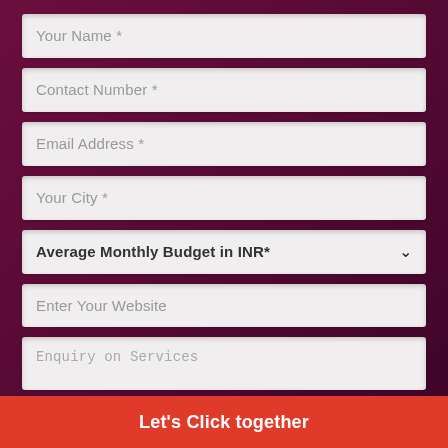Your Name *
Contact Number *
Email Address *
Your City *
Average Monthly Budget in INR*
Enter Your Website
Enquiry on Services
Let's Click together